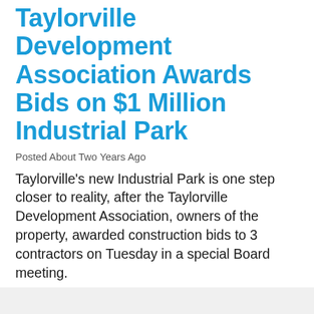Taylorville Development Association Awards Bids on $1 Million Industrial Park
Posted About Two Years Ago
Taylorville's new Industrial Park is one step closer to reality, after the Taylorville Development Association, owners of the property, awarded construction bids to 3 contractors on Tuesday in a special Board meeting.
Executive Director of the Christian County Economic Development Corporation, Mary Renner, has been assisting T-D-A in its efforts to get a new Industrial Park built for Taylorville, and told Regional Radio News that a new Industrial Park was one of the goals she was given when she was first hired 14 years ago.